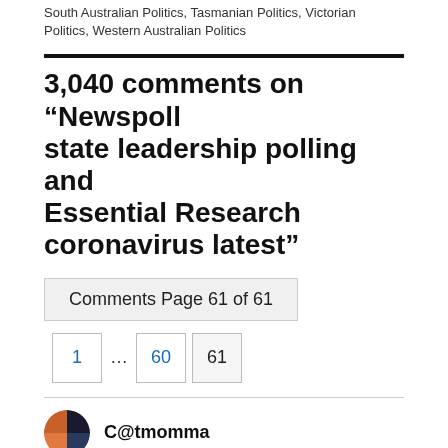South Australian Politics, Tasmanian Politics, Victorian Politics, Western Australian Politics
3,040 comments on “Newspoll state leadership polling and Essential Research coronavirus latest”
Comments Page 61 of 61
1 ... 60 61
C@tmomma